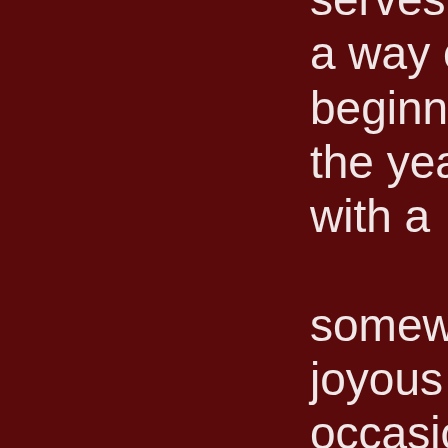serves as a way of beginning the year with a somewhat joyous occasion. The actual church celebration